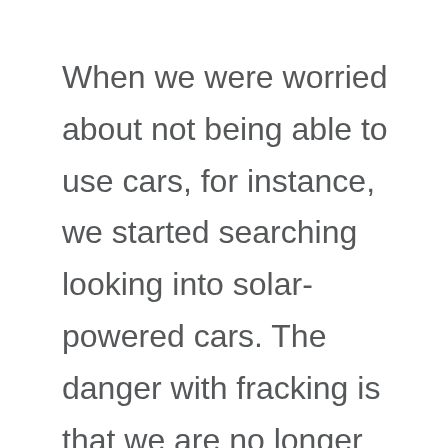When we were worried about not being able to use cars, for instance, we started searching looking into solar-powered cars. The danger with fracking is that we are no longer going to look for alternative energy sources like the sun or the wind. Instead, we will pump harmful chemicals into our environment and cause global warming to be worse.